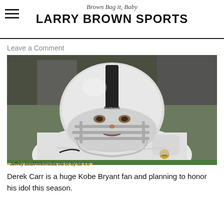Brown Bag it, Baby — LARRY BROWN SPORTS
Leave a Comment
[Figure (photo): Derek Carr, Oakland Raiders quarterback, wearing white Raiders helmet and jersey, looking forward intensely. Photo credit: Jeffrey Beall/Wikimedia via cc-by-sa 4.0]
Derek Carr is a huge Kobe Bryant fan and planning to honor his idol this season.